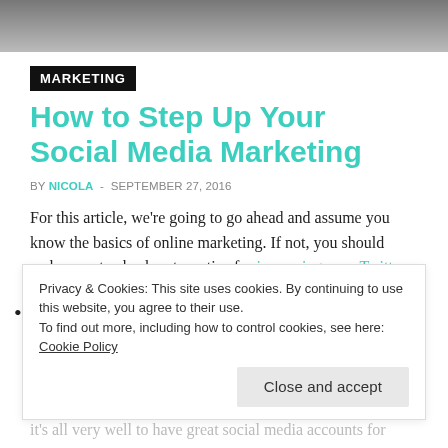[Figure (photo): Partial photo of a person at a desk, cropped at top of page]
MARKETING
How to Step Up Your Social Media Marketing
BY NICOLA - SEPTEMBER 27, 2016
For this article, we're going to go ahead and assume you know the basics of online marketing. If not, you should make sure to check out our tips for increasing your Twitter follower numbers as well as this one. After
Privacy & Cookies: This site uses cookies. By continuing to use this website, you agree to their use.
To find out more, including how to control cookies, see here: Cookie Policy
Close and accept
it's all very well to have great social media accounts for